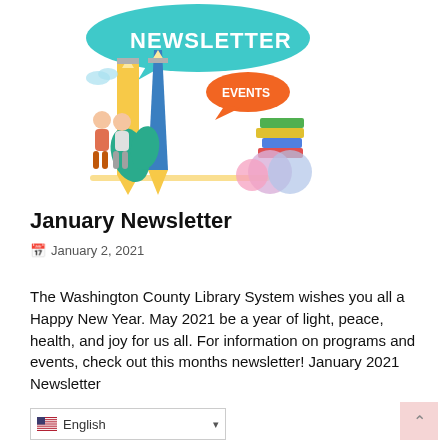[Figure (illustration): Newsletter illustration showing pencil, people, speech bubbles with 'NEWSLETTER' and 'EVENTS' text, books, and colorful decorative circles in blue, teal, pink, and purple tones.]
January Newsletter
January 2, 2021
The Washington County Library System wishes you all a Happy New Year. May 2021 be a year of light, peace, health, and joy for us all. For information on programs and events, check out this months newsletter! January 2021 Newsletter